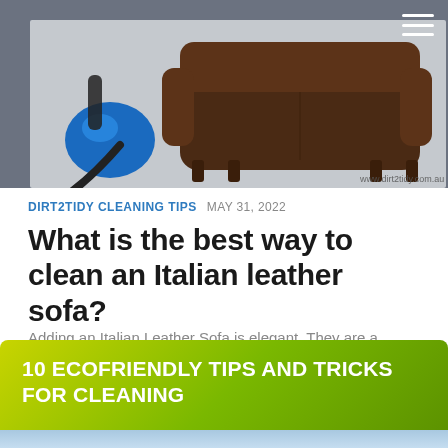[Figure (illustration): Hero image showing a vacuum cleaner with hose next to a dark brown leather sofa on a light grey background, with watermark 'www.dirt2tidy.com.au' at the bottom right. A hamburger menu icon is visible in the top-right corner.]
DIRT2TIDY CLEANING TIPS  MAY 31, 2022
What is the best way to clean an Italian leather sofa?
Adding an Italian Leather Sofa is elegant. They are a luxury and adorn your home and living room. Apart from having leather couches, their upkeep is required. You want them to be excellent at...
[Figure (illustration): Bottom banner with green gradient background and bold white text '10 ECOFRIENDLY TIPS AND TRICKS FOR CLEANING', with partial image visible at the bottom.]